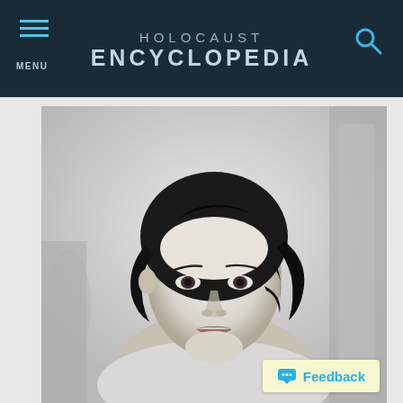HOLOCAUST ENCYCLOPEDIA
[Figure (photo): Black and white portrait photograph of a young woman with dark wavy hair, looking directly at the camera. The photo appears to be a historical identification or passport-style photograph.]
Feedback